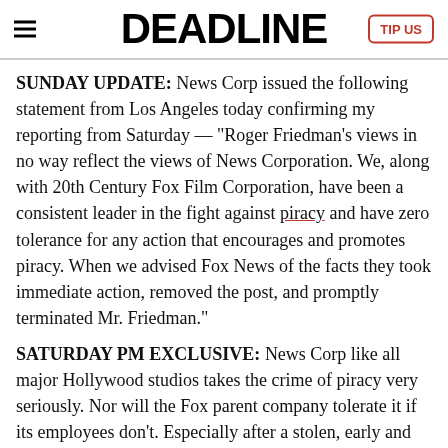DEADLINE | TIP US
SUNDAY UPDATE: News Corp issued the following statement from Los Angeles today confirming my reporting from Saturday — "Roger Friedman's views in no way reflect the views of News Corporation. We, along with 20th Century Fox Film Corporation, have been a consistent leader in the fight against piracy and have zero tolerance for any action that encourages and promotes piracy. When we advised Fox News of the facts they took immediate action, removed the post, and promptly terminated Mr. Friedman."
SATURDAY PM EXCLUSIVE: News Corp like all major Hollywood studios takes the crime of piracy very seriously. Nor will the Fox parent company tolerate it if its employees don't. Especially after a stolen, early and unfinished work print of 20th Century Fox's big summer blockbuster X-Men Origins: Wolverine was put onto the Internet illegally this week in a major scandal that the FBI is now investigating. So there was universal